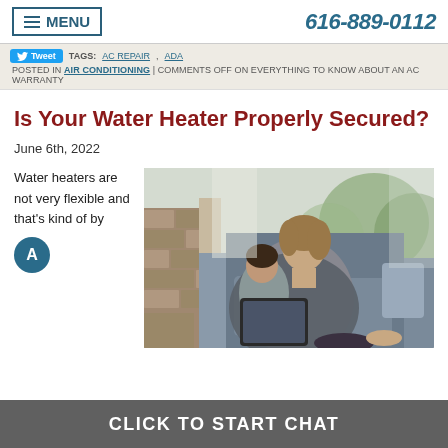MENU  616-889-0112
Tweet  TAGS: AC REPAIR, ADA  POSTED IN AIR CONDITIONING | COMMENTS OFF ON EVERYTHING TO KNOW ABOUT AN AC WARRANTY
Is Your Water Heater Properly Secured?
June 6th, 2022
Water heaters are not very flexible and that's kind of by
[Figure (photo): Woman sitting on a couch reading a tablet with a young child, covered with a blanket, in a cozy living room setting]
CLICK TO START CHAT